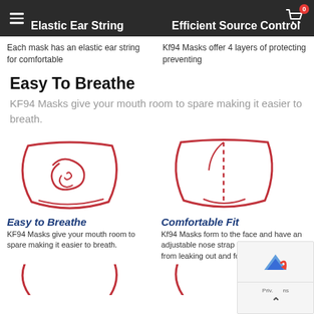Elastic Ear String | Efficient Source Control
Each mask has an elastic ear string for comfortable
Kf94 Masks offer 4 layers of protecting preventing
Easy To Breathe
KF94 Masks give your mouth room to spare making it easier to breath.
[Figure (illustration): Red line drawing of KF94 mask cross-section showing breathing room]
[Figure (illustration): Red line drawing of KF94 mask showing comfortable fit with dashed nose strap line]
Easy to Breathe
KF94 Masks give your mouth room to spare making it easier to breath.
Comfortable Fit
Kf94 Masks form to the face and have an adjustable nose strap to prevent any air from leaking out and fogging up glasses.
[Figure (illustration): Partial red line illustration at bottom left]
[Figure (illustration): Partial red line illustration at bottom right]